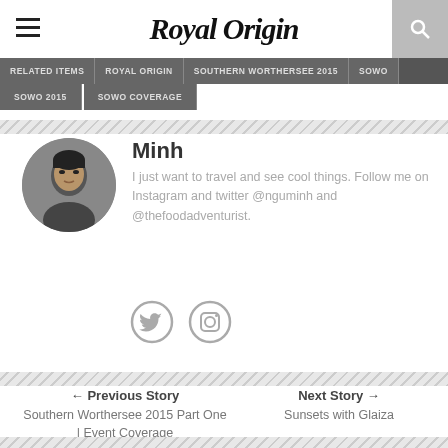Royal Origin
RELATED ITEMS | ROYAL ORIGIN | SOUTHERN WORTHERSEE 2015 | SOWO
SOWO 2015 | SOWO COVERAGE
[Figure (photo): Circular avatar photo of Minh, a young Asian man]
Minh
I just want to travel and see cool things. Follow me on Instagram and twitter @nguminh and @thefoodadventurist.
[Figure (illustration): Twitter and Instagram social media icons (circles with bird and camera logos)]
← Previous Story
Southern Worthersee 2015 Part One | Event Coverage
Next Story →
Sunsets with Glaiza